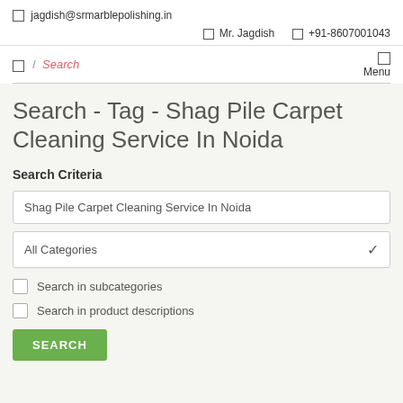✉ jagdish@srmarblepolishing.in
👤 Mr. Jagdish    📞 +91-8607001043
🏠 / Search
Menu
Search - Tag - Shag Pile Carpet Cleaning Service In Noida
Search Criteria
Shag Pile Carpet Cleaning Service In Noida
All Categories
Search in subcategories
Search in product descriptions
SEARCH